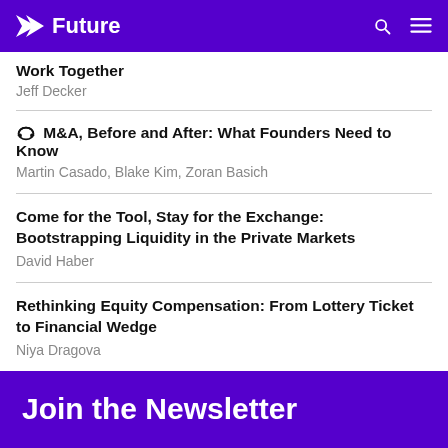Future
Work Together
Jeff Decker
🎧 M&A, Before and After: What Founders Need to Know
Martin Casado, Blake Kim, Zoran Basich
Come for the Tool, Stay for the Exchange: Bootstrapping Liquidity in the Private Markets
David Haber
Rethinking Equity Compensation: From Lottery Ticket to Financial Wedge
Niya Dragova
Join the Newsletter